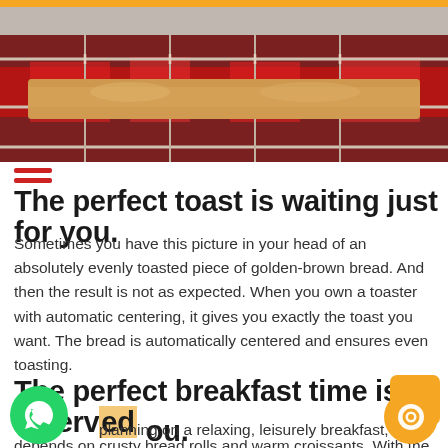[Figure (photo): Close-up photo of a toaster with bread inside, glowing red heating elements visible, metal grate/grid, shot from above]
The perfect toast is waiting just for you.
Sometimes you have this picture in your head of an absolutely evenly toasted piece of golden-brown bread. And then the result is not as expected. When you own a toaster with automatic centering, it gives you exactly the toast you want. The bread is automatically centered and ensures even toasting.
The perfect breakfast time is reserved for you.
If you are planning on a relaxing, leisurely breakfast, everything depends on crusty bread rolls and warm croissants. With the